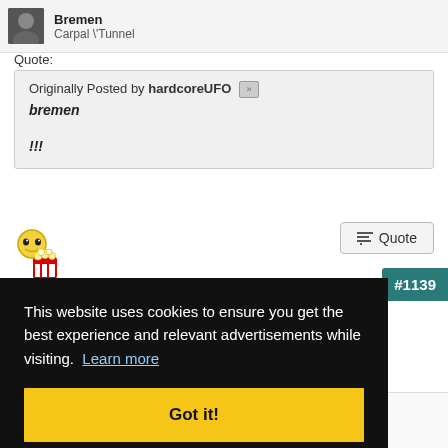Bremen
Carpal \"Tunnel
Quote:
Originally Posted by hardcoreUFO
bremen

!!!
[Figure (illustration): Popcorn emoji / emoticon — small cartoon face watching with popcorn bucket]
Quote
#1139
This website uses cookies to ensure you get the best experience and relevant advertisements while visiting. Learn more
Got it!
mcgvoy lololol